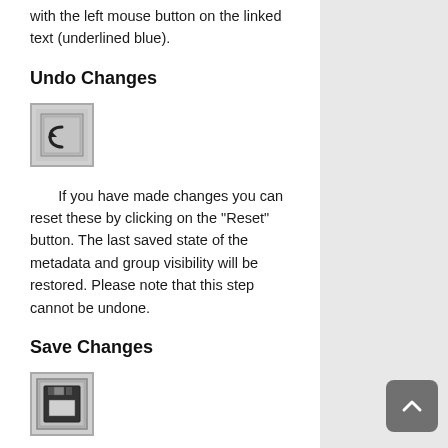with the left mouse button on the linked text (underlined blue).
Undo Changes
[Figure (screenshot): Undo button icon - a square button with an undo arrow symbol]
If you have made changes you can reset these by clicking on the “Reset” button. The last saved state of the metadata and group visibility will be restored. Please note that this step cannot be undone.
Save Changes
[Figure (screenshot): Save button icon - a square button with a floppy disk symbol]